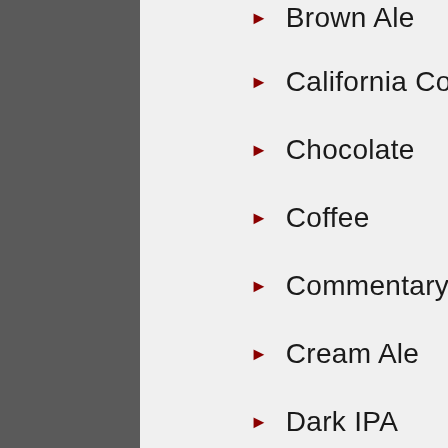Brown Ale
California Common
Chocolate
Coffee
Commentary
Cream Ale
Dark IPA
Dopplebock
Dortmunder Lager
Double IPA